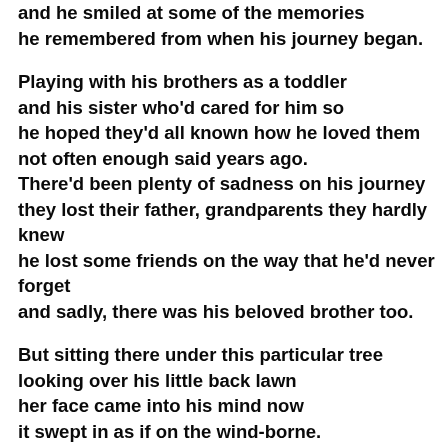and he smiled at some of the memories
he remembered from when his journey began.

Playing with his brothers as a toddler
and his sister who'd cared for him so
he hoped they'd all known how he loved them
not often enough said years ago.
There'd been plenty of sadness on his journey
they lost their father, grandparents they hardly knew
he lost some friends on the way that he'd never forget
and sadly, there was his beloved brother too.

But sitting there under this particular tree
looking over his little back lawn
her face came into his mind now
it swept in as if on the wind-borne.
She'd come into his life as a saviour
he knew he'd been blessed all along